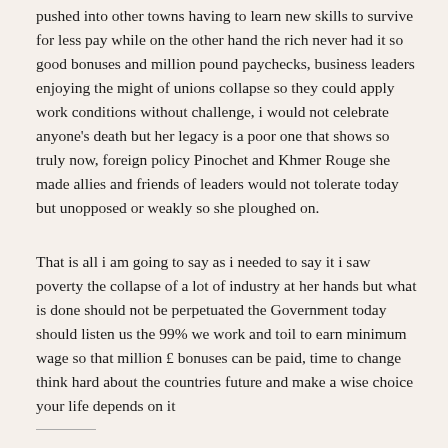pushed into other towns having to learn new skills to survive for less pay while on the other hand the rich never had it so good bonuses and million pound paychecks, business leaders enjoying the might of unions collapse so they could apply work conditions without challenge, i would not celebrate anyone's death but her legacy is a poor one that shows so truly now, foreign policy Pinochet and Khmer Rouge she made allies and friends of leaders would not tolerate today but unopposed or weakly so she ploughed on.
That is all i am going to say as i needed to say it i saw poverty the collapse of a lot of industry at her hands but what is done should not be perpetuated the Government today should listen us the 99% we work and toil to earn minimum wage so that million £ bonuses can be paid, time to change think hard about the countries future and make a wise choice your life depends on it